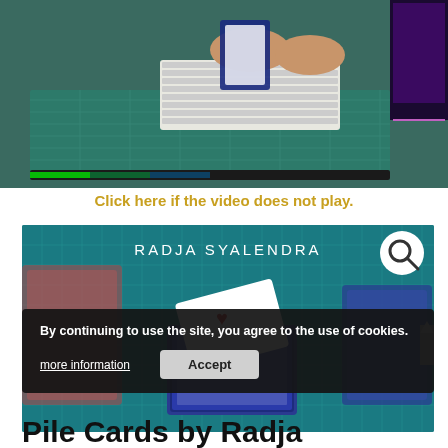[Figure (photo): Hands holding and manipulating playing cards on a green cutting mat with a keyboard and laptop in background]
Click here if the video does not play.
[Figure (photo): Product image for Radja Syalendra's Pile Cards magic trick, showing a deck of Bicycle playing cards fanned out on a green cutting mat, with 'RADJA SYALENDRA' text overlay and a magnifying glass search icon]
By continuing to use the site, you agree to the use of cookies.
more information
Accept
Pile Cards by Radja